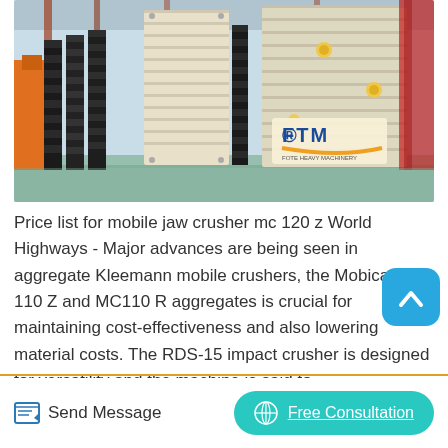[Figure (photo): Industrial manufacturing facility showing large jaw crusher/screening equipment (Mobicat style crushers) with black and white/cream colored heavy machinery panels on a production floor. FTM (Fote Heavy Machinery) logo visible in the lower right of the image.]
Price list for mobile jaw crusher mc 120 z World Highways - Major advances are being seen in aggregate Kleemann mobile crushers, the Mobicat MC 110 Z and MC110 R aggregates is crucial for maintaining cost-effectiveness and also lowering material costs. The RDS-15 impact crusher is designed for versatility and the machine is said to.
Send Message
Free Consultation